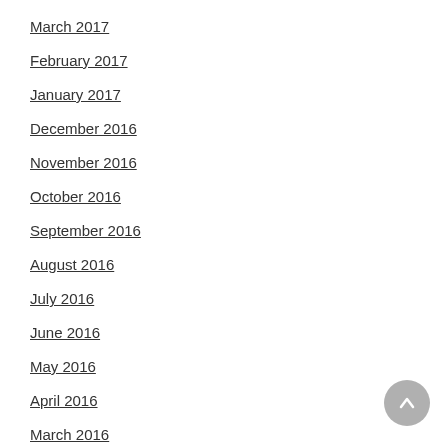March 2017
February 2017
January 2017
December 2016
November 2016
October 2016
September 2016
August 2016
July 2016
June 2016
May 2016
April 2016
March 2016